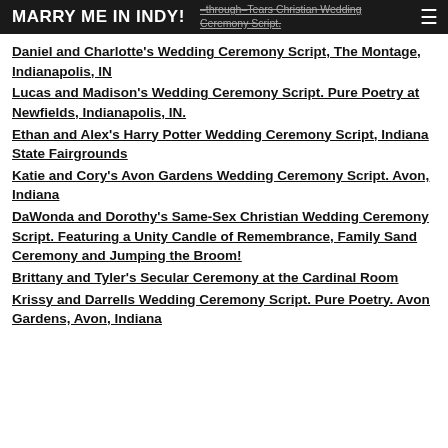MARRY ME IN INDY!
Daniel and Charlotte's Wedding Ceremony Script, The Montage, Indianapolis, IN
Lucas and Madison's Wedding Ceremony Script. Pure Poetry at Newfields, Indianapolis, IN.
Ethan and Alex's Harry Potter Wedding Ceremony Script, Indiana State Fairgrounds
Katie and Cory's Avon Gardens Wedding Ceremony Script. Avon, Indiana
DaWonda and Dorothy's Same-Sex Christian Wedding Ceremony Script. Featuring a Unity Candle of Remembrance, Family Sand Ceremony and Jumping the Broom!
Brittany and Tyler's Secular Ceremony at the Cardinal Room
Krissy and Darrells Wedding Ceremony Script. Pure Poetry. Avon Gardens, Avon, Indiana